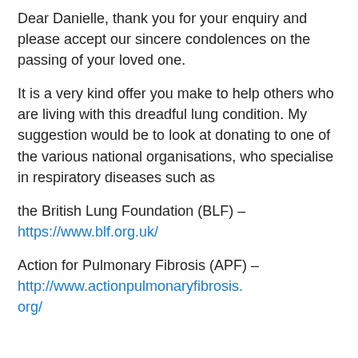Dear Danielle, thank you for your enquiry and please accept our sincere condolences on the passing of your loved one.
It is a very kind offer you make to help others who are living with this dreadful lung condition. My suggestion would be to look at donating to one of the various national organisations, who specialise in respiratory diseases such as
the British Lung Foundation (BLF) – https://www.blf.org.uk/
Action for Pulmonary Fibrosis (APF) – http://www.actionpulmonaryfibrosis.org/